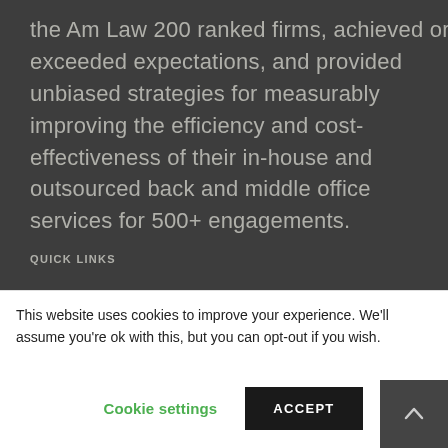the Am Law 200 ranked firms, achieved or exceeded expectations, and provided unbiased strategies for measurably improving the efficiency and cost-effectiveness of their in-house and outsourced back and middle office services for 500+ engagements.
QUICK LINKS
> Services
This website uses cookies to improve your experience. We'll assume you're ok with this, but you can opt-out if you wish.
Cookie settings   ACCEPT